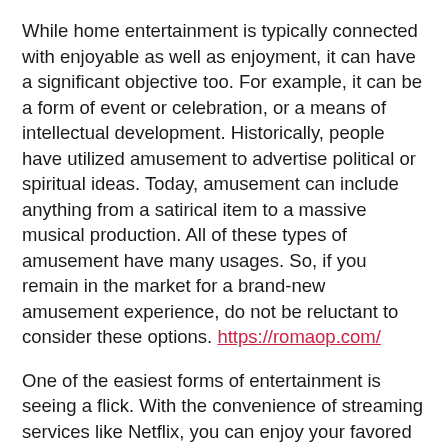While home entertainment is typically connected with enjoyable as well as enjoyment, it can have a significant objective too. For example, it can be a form of event or celebration, or a means of intellectual development. Historically, people have utilized amusement to advertise political or spiritual ideas. Today, amusement can include anything from a satirical item to a massive musical production. All of these types of amusement have many usages. So, if you remain in the market for a brand-new amusement experience, do not be reluctant to consider these options. https://romaop.com/
One of the easiest forms of entertainment is seeing a flick. With the convenience of streaming services like Netflix, you can enjoy your favored flick anywhere at any moment. A film is a terrific stress-reliever. It delivers audiences to a different world and also gives a feeling of escape. A day night at the cinema with your companion is also much better when you have a flick to view together. Simply remember to get some